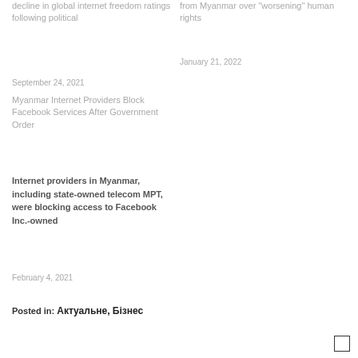decline in global internet freedom ratings following political
from Myanmar over "worsening" human rights
January 21, 2022
September 24, 2021
Myanmar Internet Providers Block Facebook Services After Government Order
Internet providers in Myanmar, including state-owned telecom MPT, were blocking access to Facebook Inc.-owned
February 4, 2021
Posted in: Актуальне, Бізнес